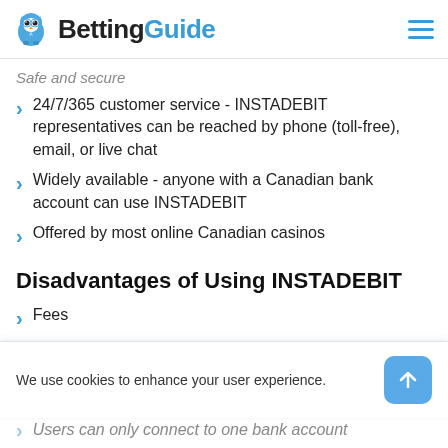BettingGuide
Safe and secure
24/7/365 customer service - INSTADEBIT representatives can be reached by phone (toll-free), email, or live chat
Widely available - anyone with a Canadian bank account can use INSTADEBIT
Offered by most online Canadian casinos
Disadvantages of Using INSTADEBIT
Fees
We use cookies to enhance your user experience.
Users can only connect to one bank account